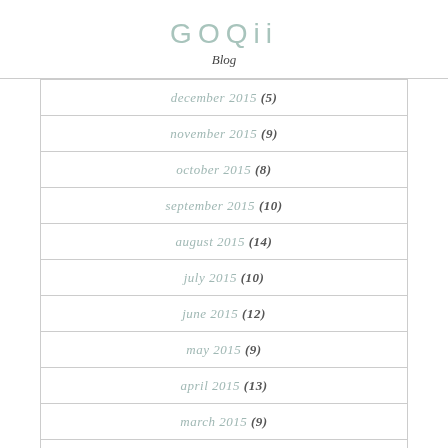GOQii Blog
december 2015 (5)
november 2015 (9)
october 2015 (8)
september 2015 (10)
august 2015 (14)
july 2015 (10)
june 2015 (12)
may 2015 (9)
april 2015 (13)
march 2015 (9)
february 2015 (6)
january 2015 (12)